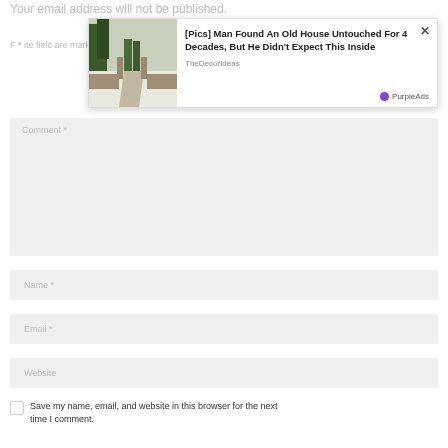Your email address will not be published.
F * ite fielc are marked *
[Figure (screenshot): Advertisement overlay showing an old snowy house driveway image with headline '[Pics] Man Found An Old House Untouched For 4 Decades, But He Didn't Expect This Inside' from TheDecorIdeas, with PurpleAds branding and close button]
Comment *
Name *
Email *
Website
Save my name, email, and website in this browser for the next time I comment.